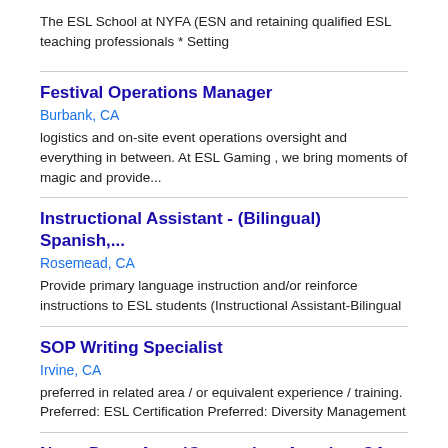The ESL School at NYFA (ESN and retaining qualified ESL teaching professionals * Setting
Festival Operations Manager
Burbank, CA
logistics and on-site event operations oversight and everything in between. At ESL Gaming , we bring moments of magic and provide...
Instructional Assistant - (Bilingual) Spanish,...
Rosemead, CA
Provide primary language instruction and/or reinforce instructions to ESL students (Instructional Assistant-Bilingual
SOP Writing Specialist
Irvine, CA
preferred in related area / or equivalent experience / training. Preferred: ESL Certification Preferred: Diversity Management
Notre Dame AmeriCorps - Los Angeles, CA
Venice, CA
Opportunities to teach Citizenship courses or teaching ESL classes in small group settings. SPANISH IS HIGHLY